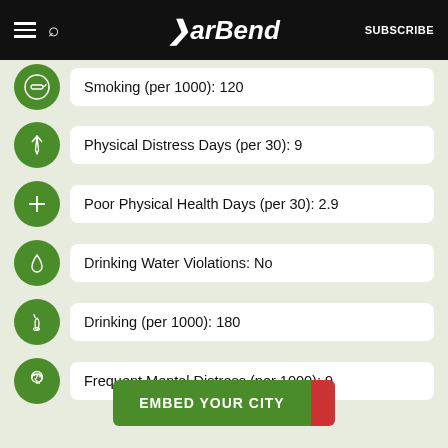BarBend — SUBSCRIBE
Smoking (per 1000): 120
Physical Distress Days (per 30): 9
Poor Physical Health Days (per 30): 2.9
Drinking Water Violations: No
Drinking (per 1000): 180
Frequent Mental Distress (per 1000): 9
EMBED YOUR CITY